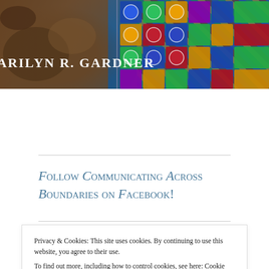[Figure (photo): Website banner image for Marilyn R. Gardner's blog 'Communicating Across Boundaries', featuring a mosaic of colorful tiles and stone textures with the author's name in white small-caps serif font]
Follow Communicating Across Boundaries on Facebook!
Privacy & Cookies: This site uses cookies. By continuing to use this website, you agree to their use.
To find out more, including how to control cookies, see here: Cookie Policy
Close and accept